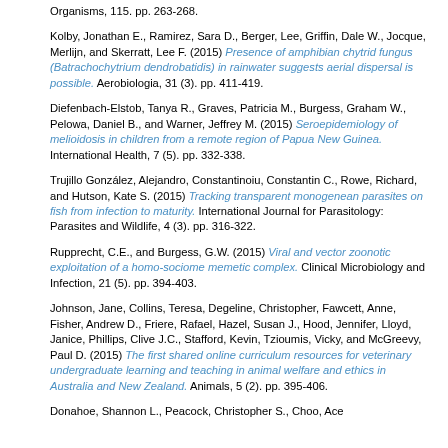Organisms, 115. pp. 263-268.
Kolby, Jonathan E., Ramirez, Sara D., Berger, Lee, Griffin, Dale W., Jocque, Merlijn, and Skerratt, Lee F. (2015) Presence of amphibian chytrid fungus (Batrachochytrium dendrobatidis) in rainwater suggests aerial dispersal is possible. Aerobiologia, 31 (3). pp. 411-419.
Diefenbach-Elstob, Tanya R., Graves, Patricia M., Burgess, Graham W., Pelowa, Daniel B., and Warner, Jeffrey M. (2015) Seroepidemiology of melioidosis in children from a remote region of Papua New Guinea. International Health, 7 (5). pp. 332-338.
Trujillo González, Alejandro, Constantinoiu, Constantin C., Rowe, Richard, and Hutson, Kate S. (2015) Tracking transparent monogenean parasites on fish from infection to maturity. International Journal for Parasitology: Parasites and Wildlife, 4 (3). pp. 316-322.
Rupprecht, C.E., and Burgess, G.W. (2015) Viral and vector zoonotic exploitation of a homo-sociome memetic complex. Clinical Microbiology and Infection, 21 (5). pp. 394-403.
Johnson, Jane, Collins, Teresa, Degeline, Christopher, Fawcett, Anne, Fisher, Andrew D., Friere, Rafael, Hazel, Susan J., Hood, Jennifer, Lloyd, Janice, Phillips, Clive J.C., Stafford, Kevin, Tzioumis, Vicky, and McGreevy, Paul D. (2015) The first shared online curriculum resources for veterinary undergraduate learning and teaching in animal welfare and ethics in Australia and New Zealand. Animals, 5 (2). pp. 395-406.
Donahoe, Shannon L., Peacock, Christopher S., Choo, Ace...